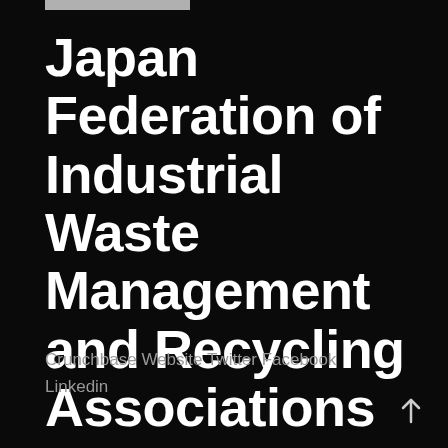Japan Federation of Industrial Waste Management and Recycling Associations
Crunchbase Website Twitter Facebook Linkedin